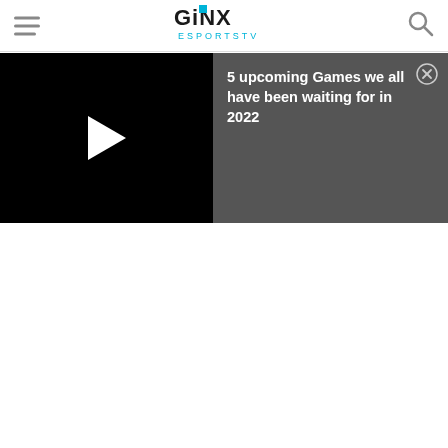[Figure (logo): GINX ESPORTS TV logo in header]
[Figure (screenshot): Black video thumbnail with white play button triangle]
5 upcoming Games we all have been waiting for in 2022